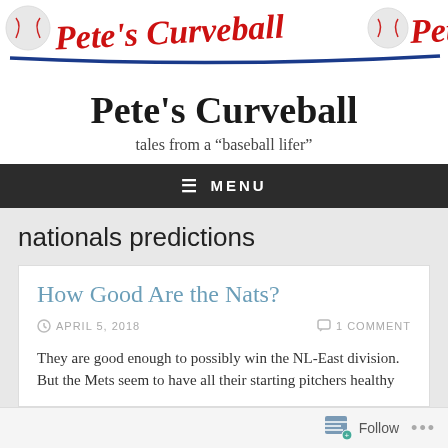[Figure (logo): Pete's Curveball banner logo with baseball imagery in red script on white background with blue swoosh underline, repeating]
Pete's Curveball
tales from a “baseball lifer”
≡  MENU
nationals predictions
How Good Are the Nats?
APRIL 5, 2018   1 COMMENT
They are good enough to possibly win the NL-East division. But the Mets seem to have all their starting pitchers healthy